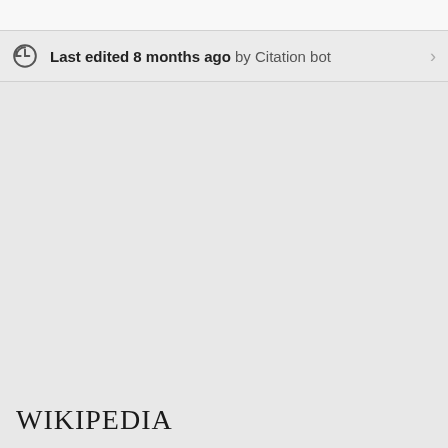Last edited 8 months ago by Citation bot
Wikipedia